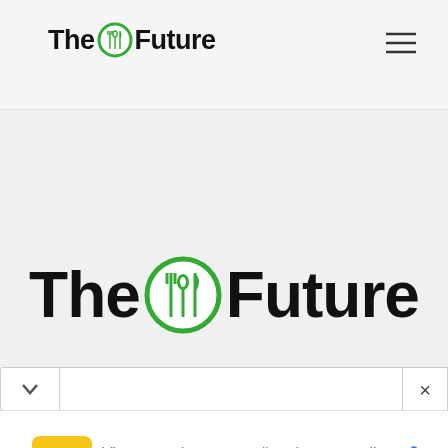The Future
[Figure (logo): The Future logo — large centered version with fork/spoon/knife icon in green circle between 'The' and 'Future' in bold black text]
View store hours, get directions, or call your salon!